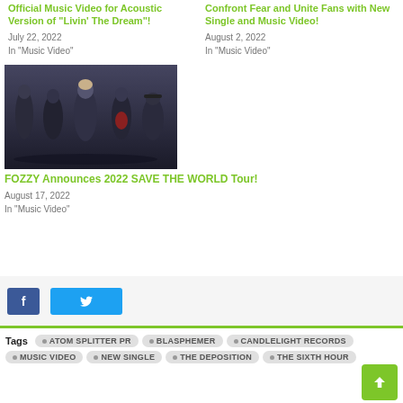Official Music Video for Acoustic Version of “Livin’ The Dream”!
July 22, 2022
In "Music Video"
Confront Fear and Unite Fans with New Single and Music Video!
August 2, 2022
In "Music Video"
[Figure (photo): Band photo of FOZZY - five members standing against a dark background, wearing rock/metal style clothing]
FOZZY Announces 2022 SAVE THE WORLD Tour!
August 17, 2022
In "Music Video"
Facebook and Twitter share buttons
Tags  ATOM SPLITTER PR  BLASPHEMER  CANDLELIGHT RECORDS  MUSIC VIDEO  NEW SINGLE  THE DEPOSITION  THE SIXTH HOUR